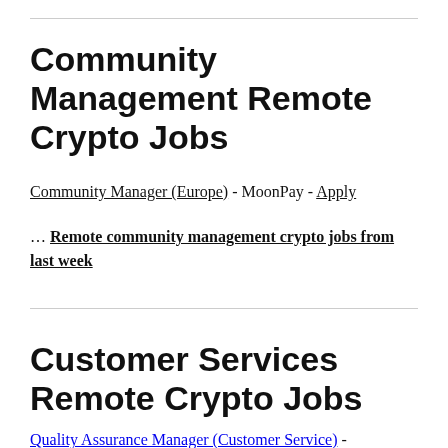Community Management Remote Crypto Jobs
Community Manager (Europe) - MoonPay - Apply
… Remote community management crypto jobs from last week
Customer Services Remote Crypto Jobs
Quality Assurance Manager (Customer Service) -